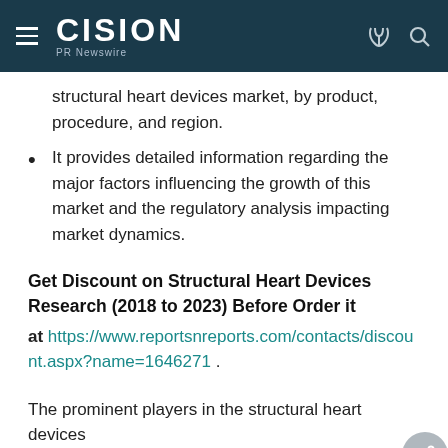CISION PR Newswire
structural heart devices market, by product, procedure, and region.
It provides detailed information regarding the major factors influencing the growth of this market and the regulatory analysis impacting market dynamics.
Get Discount on Structural Heart Devices Research (2018 to 2023) Before Order it
at https://www.reportsnreports.com/contacts/discount.aspx?name=1646271 .
The prominent players in the structural heart devices